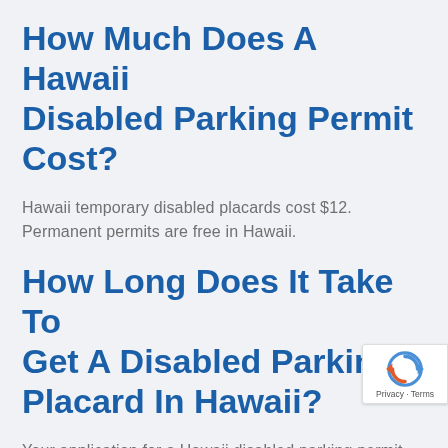How Much Does A Hawaii Disabled Parking Permit Cost?
Hawaii temporary disabled placards cost $12. Permanent permits are free in Hawaii.
How Long Does It Take To Get A Disabled Parking Placard In Hawaii?
Your application for a Hawaii disabled parking permit will be processed within 10 business days.
How Long Are Hawaii